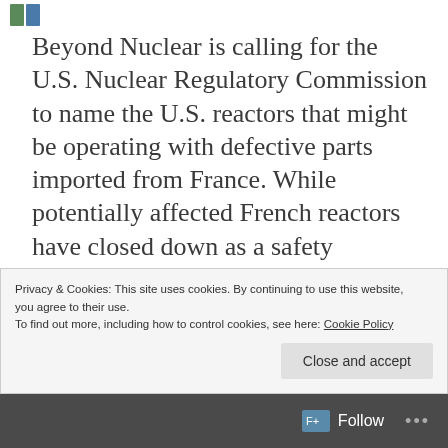[Figure (logo): Small blue/green logo icon in top-left corner]
Beyond Nuclear is calling for the U.S. Nuclear Regulatory Commission to name the U.S. reactors that might be operating with defective parts imported from France. While potentially affected French reactors have closed down as a safety precaution, the U.S. NRC has refused to even name the affected reactors let alone mandate precautionary closures until the parts are checked. Beyond Nuclear is filing an emergency enforcement 2.206 petition and a
Privacy & Cookies: This site uses cookies. By continuing to use this website, you agree to their use.
To find out more, including how to control cookies, see here: Cookie Policy
Close and accept
Follow ···